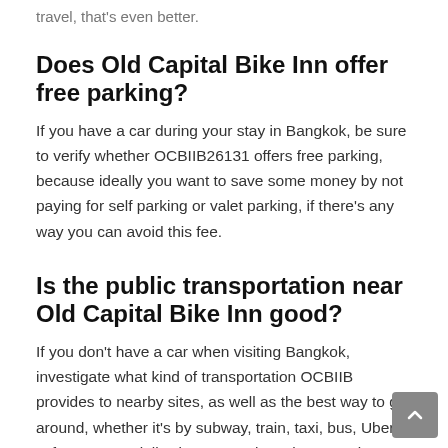travel, that's even better.
Does Old Capital Bike Inn offer free parking?
If you have a car during your stay in Bangkok, be sure to verify whether OCBIIB26131 offers free parking, because ideally you want to save some money by not paying for self parking or valet parking, if there's any way you can avoid this fee.
Is the public transportation near Old Capital Bike Inn good?
If you don't have a car when visiting Bangkok, investigate what kind of transportation OCBIIB provides to nearby sites, as well as the best way to get around, whether it's by subway, train, taxi, bus, Uber, Lyft, etc, especially since a nearby subway station, train station, bus station, or taxi station in walking distance can make all the difference in the world.